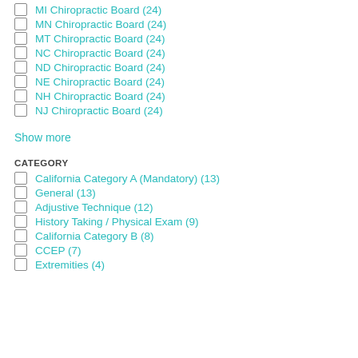MI Chiropractic Board (24)
MN Chiropractic Board (24)
MT Chiropractic Board (24)
NC Chiropractic Board (24)
ND Chiropractic Board (24)
NE Chiropractic Board (24)
NH Chiropractic Board (24)
NJ Chiropractic Board (24)
Show more
CATEGORY
California Category A (Mandatory) (13)
General (13)
Adjustive Technique (12)
History Taking / Physical Exam (9)
California Category B (8)
CCEP (7)
Extremities (4)